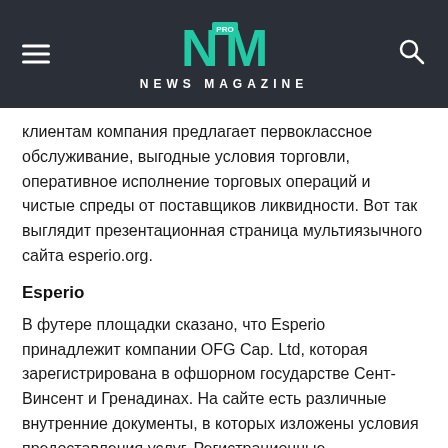NEWS MAGAZINE
клиентам компания предлагает первоклассное обслуживание, выгодные условия торговли, оперативное исполнение торговых операций и чистые спреды от поставщиков ликвидности. Вот так выглядит презентационная страница мультиязычного сайта esperio.org.
Esperio
В футере площадки сказано, что Esperio принадлежит компании OFG Cap. Ltd, которая зарегистрирована в офшорном государстве Сент-Винсент и Гренадинах. На сайте есть различные внутренние документы, в которых изложены условия предоставления услуг. Регистрационные